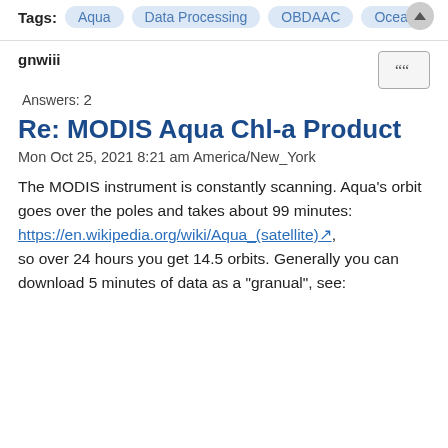Tags: Aqua   Data Processing   OBDAAC   Ocean
gnwiii
Answers: 2
Re: MODIS Aqua Chl-a Product
Mon Oct 25, 2021 8:21 am America/New_York
The MODIS instrument is constantly scanning. Aqua's orbit goes over the poles and takes about 99 minutes: https://en.wikipedia.org/wiki/Aqua_(satellite), so over 24 hours you get 14.5 orbits. Generally you can download 5 minutes of data as a "granual", see: